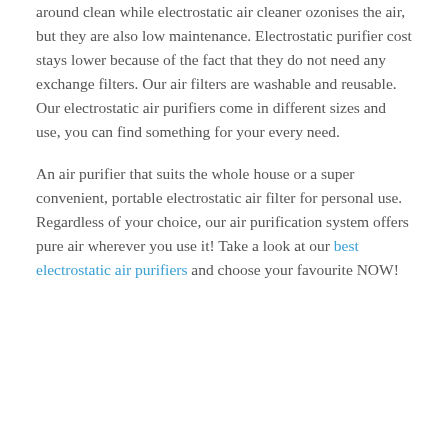around clean while electrostatic air cleaner ozonises the air, but they are also low maintenance. Electrostatic purifier cost stays lower because of the fact that they do not need any exchange filters. Our air filters are washable and reusable. Our electrostatic air purifiers come in different sizes and use, you can find something for your every need.
An air purifier that suits the whole house or a super convenient, portable electrostatic air filter for personal use. Regardless of your choice, our air purification system offers pure air wherever you use it! Take a look at our best electrostatic air purifiers and choose your favourite NOW!